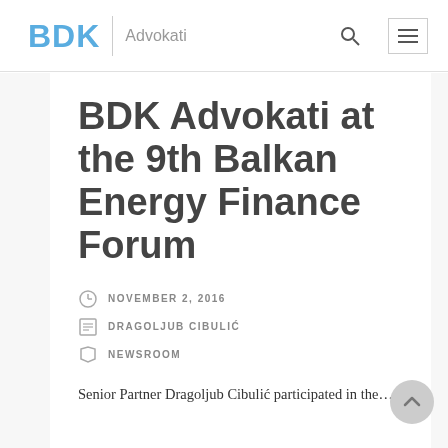BDK Advokati
BDK Advokati at the 9th Balkan Energy Finance Forum
NOVEMBER 2, 2016
DRAGOLJUB CIBULIĆ
NEWSROOM
Senior Partner Dragoljub Cibulić participated in the…